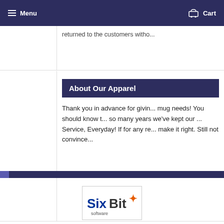Menu | Cart
returned to the customers witho...
About Our Apparel
Thank you in advance for givin... mug needs! You should know t... so many years we've kept our ... Service, Everyday! If for any re... make it right. Still not convince...
[Figure (logo): SixBit software logo]